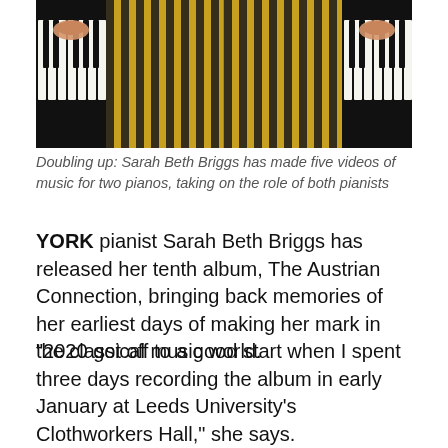[Figure (photo): A mirrored/doubled image of pianist Sarah Beth Briggs sitting at two pianos wearing a black and gold striped shirt, hands on the keys, viewed from above/front]
Doubling up: Sarah Beth Briggs has made five videos of music for two pianos, taking on the role of both pianists
YORK pianist Sarah Beth Briggs has released her tenth album, The Austrian Connection, bringing back memories of her earliest days of making her mark in the classical music world.
“2020 got off to a good start when I spent three days recording the album in early January at Leeds University’s Clothworkers Hall,” she says.
This summer’s new disc on the AVIE Records label features music associated most closely with Briggs during a career that stretches back to teenage days. At 15, she was the joint winner of Salzburg’s International